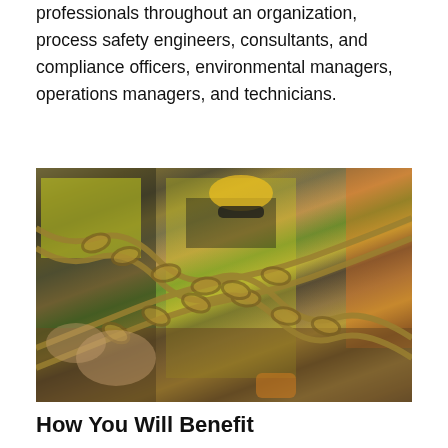professionals throughout an organization, process safety engineers, consultants, and compliance officers, environmental managers, operations managers, and technicians.
[Figure (photo): Construction workers in high-visibility vests and hard hats working with heavy chains at a job site. A man in a yellow safety vest and sunglasses crouches in the center, handling chains. Other workers are visible in the background.]
How You Will Benefit